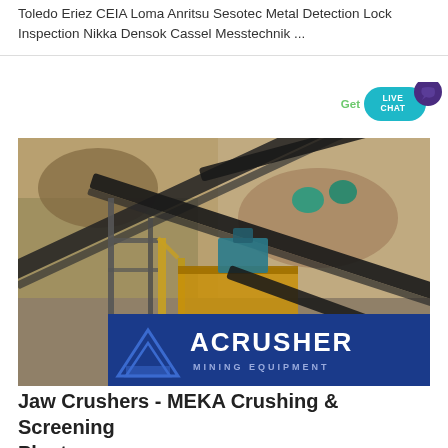Toledo Eriez CEIA Loma Anritsu Sesotec Metal Detection Lock Inspection Nikka Densok Cassel Messtechnik ...
[Figure (photo): A mining quarry conveyor belt system with metal framework, multiple belt conveyors at angles, rocky quarry wall in background, and an ACRUSHER Mining Equipment logo/banner overlay at the bottom of the image.]
Jaw Crushers - MEKA Crushing & Screening Plants